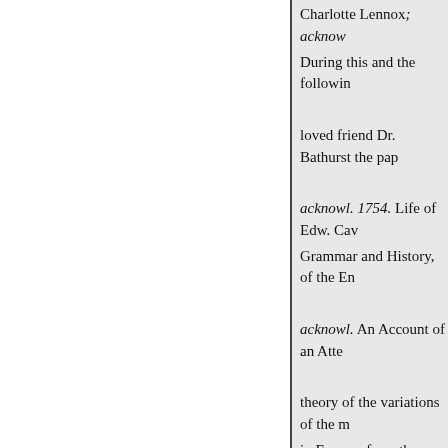Charlotte Lennox; acknow During this and the followin loved friend Dr. Bathurst the pap acknowl. 1754. Life of Edw. Cav Grammar and History, of the En acknowl. An Account of an Atte theory of the variations of the m in Europe, from the year 1660 to
* This date is not accurate, Th before Mrs. Johnson died. See P of Johnson's Works. -ED. VOL. b
1755. an ingenious ancient Welc liams, whom he for many years by signor Baretti. In a copy of it of the late Mr. Zachariah William by Johnsou ; intern. evid. 1756. Several essays in the Universa